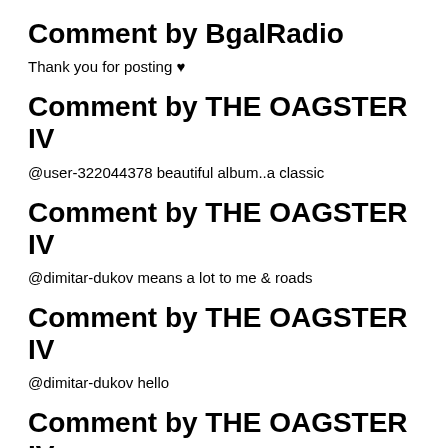Comment by BgalRadio
Thank you for posting ♥
Comment by THE OAGSTER IV
@user-322044378 beautiful album..a classic
Comment by THE OAGSTER IV
@dimitar-dukov means a lot to me & roads
Comment by THE OAGSTER IV
@dimitar-dukov hello
Comment by THE OAGSTER IV
@padma-dolma hello
Comment by THE OAGSTER IV